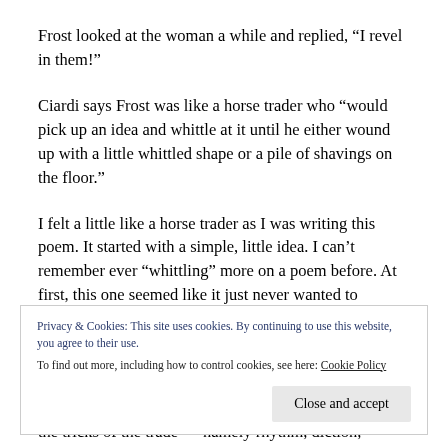Frost looked at the woman a while and replied, “I revel in them!”
Ciardi says Frost was like a horse trader who “would pick up an idea and whittle at it until he either wound up with a little whittled shape or a pile of shavings on the floor.”
I felt a little like a horse trader as I was writing this poem. It started with a simple, little idea. I can’t remember ever “whittling” more on a poem before. At first, this one seemed like it just never wanted to
Privacy & Cookies: This site uses cookies. By continuing to use this website, you agree to their use.
To find out more, including how to control cookies, see here: Cookie Policy
the tricks of the trade — namely rhythm, diction,